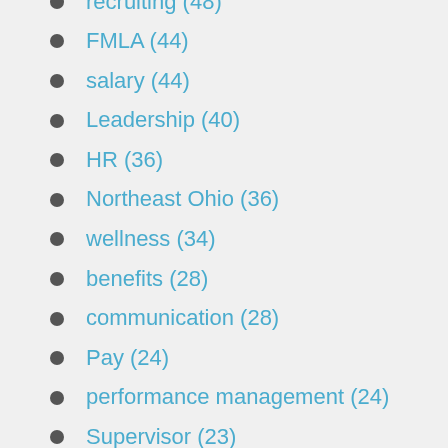recruiting (48)
FMLA (44)
salary (44)
Leadership (40)
HR (36)
Northeast Ohio (36)
wellness (34)
benefits (28)
communication (28)
Pay (24)
performance management (24)
Supervisor (23)
workplace (23)